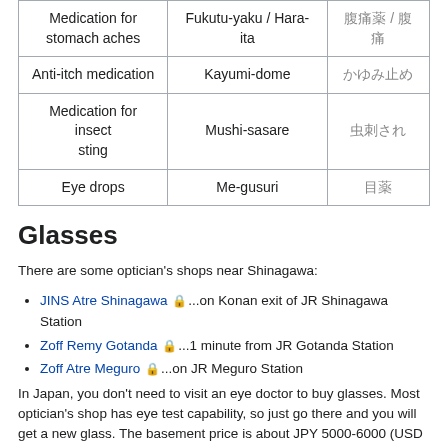| Medication for stomach aches | Fukutu-yaku / Hara-ita | 腹痛薬 / 腹痛 |
| Anti-itch medication | Kayumi-dome | かゆみ止め |
| Medication for insect sting | Mushi-sasare | 虫刺され |
| Eye drops | Me-gusuri | 目薬 |
Glasses
There are some optician's shops near Shinagawa:
JINS Atre Shinagawa 🔒...on Konan exit of JR Shinagawa Station
Zoff Remy Gotanda 🔒...1 minute from JR Gotanda Station
Zoff Atre Meguro 🔒...on JR Meguro Station
In Japan, you don't need to visit an eye doctor to buy glasses. Most optician's shop has eye test capability, so just go there and you will get a new glass. The basement price is about JPY 5000-6000 (USD 42-50), but it depends on the frame and lens.
Also, PC glasses are favorite in Japan. They have blue-light filtering capability and decrease eyestrain.